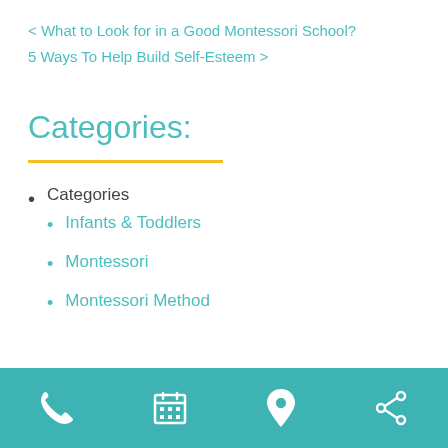< What to Look for in a Good Montessori School?
5 Ways To Help Build Self-Esteem >
Categories:
Categories
Infants & Toddlers
Montessori
Montessori Method
[phone] [calendar] [location] [share]